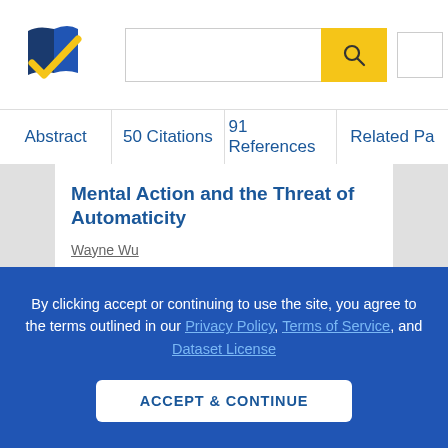[Figure (logo): Semantic Scholar logo — blue stylized book pages with gold check mark]
Abstract | 50 Citations | 91 References | Related Pa...
Mental Action and the Threat of Automaticity
Wayne Wu
Biology
2013
1 Mental Action and the Threat of Automaticity Wayne Wu [I]nput mechanisms approximate the condition often ascribed to reflexes: they
By clicking accept or continuing to use the site, you agree to the terms outlined in our Privacy Policy, Terms of Service, and Dataset License
ACCEPT & CONTINUE